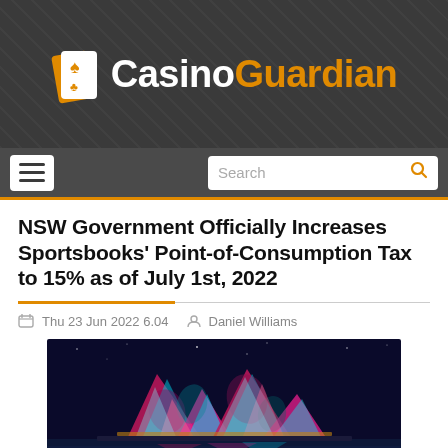[Figure (logo): CasinoGuardian logo with playing card icon and two-tone text (white 'Casino', orange 'Guardian') on dark gray background]
Navigation bar with hamburger menu button and search bar
NSW Government Officially Increases Sportsbooks' Point-of-Consumption Tax to 15% as of July 1st, 2022
Thu 23 Jun 2022 6.04   Daniel Williams
[Figure (photo): Nighttime photo of Sydney Opera House illuminated with colorful pink, blue, and red light projections]